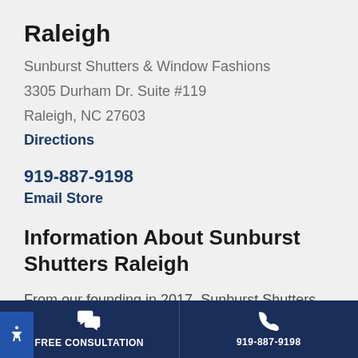Raleigh
Sunburst Shutters & Window Fashions
3305 Durham Dr. Suite #119
Raleigh, NC 27603
Directions
919-887-9198
Email Store
Information About Sunburst Shutters Raleigh
From our founding in 2017, Sunburst Shutters Raleigh has been part of the Sunburst family, bringing real
FREE CONSULTATION
919-887-9198